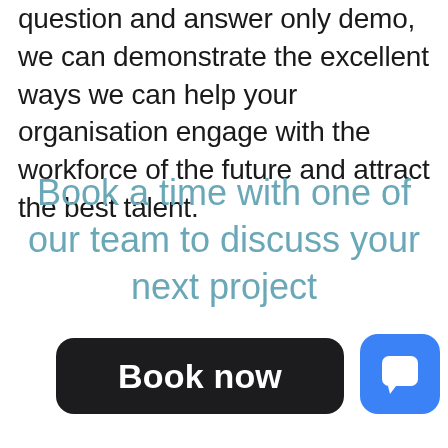question and answer only demo, we can demonstrate the excellent ways we can help your organisation engage with the workforce of the future and attract the best talent.
Book a time with one of our team to discuss your next project
Book now